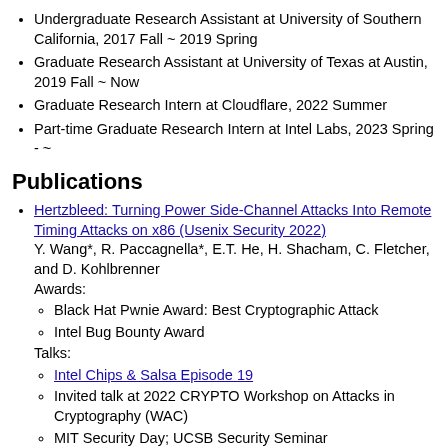Undergraduate Research Assistant at University of Southern California, 2017 Fall ~ 2019 Spring
Graduate Research Assistant at University of Texas at Austin, 2019 Fall ~ Now
Graduate Research Intern at Cloudflare, 2022 Summer
Part-time Graduate Research Intern at Intel Labs, 2023 Spring - ~
Publications
Hertzbleed: Turning Power Side-Channel Attacks Into Remote Timing Attacks on x86 (Usenix Security 2022)
Y. Wang*, R. Paccagnella*, E.T. He, H. Shacham, C. Fletcher, and D. Kohlbrenner
Awards:
  Black Hat Pwnie Award: Best Cryptographic Attack
  Intel Bug Bounty Award
Talks:
  Intel Chips & Salsa Episode 19
  Invited talk at 2022 CRYPTO Workshop on Attacks in Cryptography (WAC)
  MIT Security Day; UCSB Security Seminar
Media coverage:
  Hertzbleed explained, What's Hertzbleed, and a batit...